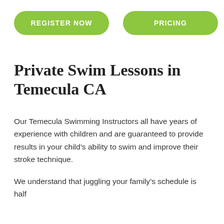[Figure (other): Green rounded rectangle button with white bold text 'REGISTER NOW']
[Figure (other): Green rounded rectangle button with white bold text 'PRICING']
Private Swim Lessons in Temecula CA
Our Temecula Swimming Instructors all have years of experience with children and are guaranteed to provide results in your child’s ability to swim and improve their stroke technique.
We understand that juggling your family’s schedule is half